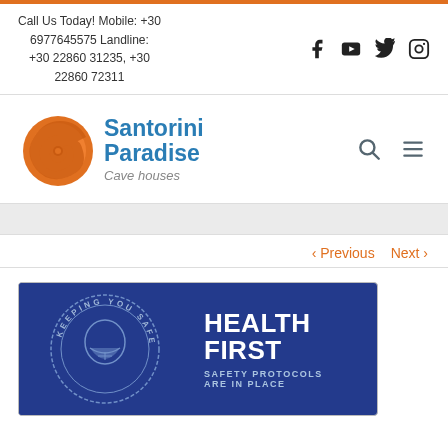Call Us Today! Mobile: +30 6977645575 Landline: +30 22860 31235, +30 22860 72311
[Figure (logo): Santorini Paradise Cave houses logo with orange nautilus shell icon and blue text]
< Previous   Next >
[Figure (infographic): Blue banner with circle 'Keeping You Safe' badge on left showing masked face, and 'HEALTH FIRST — SAFETY PROTOCOLS ARE IN PLACE' text on right in white on blue background]